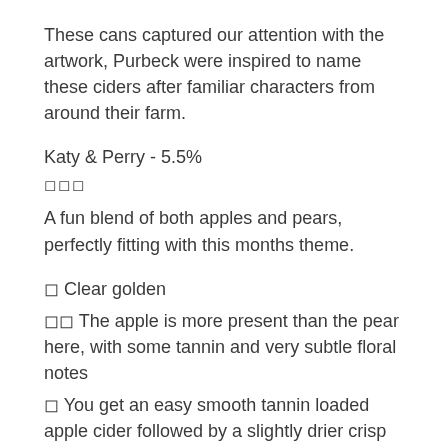These cans captured our attention with the artwork, Purbeck were inspired to name these ciders after familiar characters from around their farm.
Katy & Perry - 5.5%
□□□
A fun blend of both apples and pears, perfectly fitting with this months theme.
□ Clear golden
□□ The apple is more present than the pear here, with some tannin and very subtle floral notes
□ You get an easy smooth tannin loaded apple cider followed by a slightly drier crisp delicate pear and citrus notes present throughout. It's a nice blend of Katy apples with the perry pears complimenting the apple flavour.